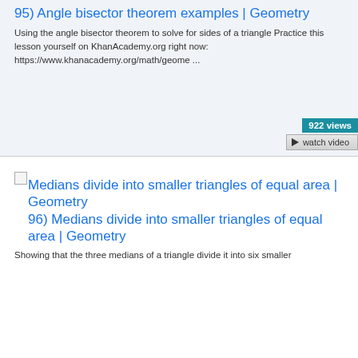95) Angle bisector theorem examples | Geometry
Using the angle bisector theorem to solve for sides of a triangle Practice this lesson yourself on KhanAcademy.org right now: https://www.khanacademy.org/math/geome ...
922 views
watch video
[Figure (other): Small broken image placeholder thumbnail]
Medians divide into smaller triangles of equal area | Geometry
96) Medians divide into smaller triangles of equal area | Geometry
Showing that the three medians of a triangle divide it into six smaller